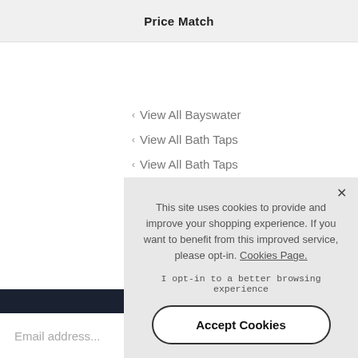Price Match
‹ View All Bayswater
‹ View All Bath Taps
‹ View All Bath Taps
This site uses cookies to provide and improve your shopping experience. If you want to benefit from this improved service, please opt-in. Cookies Page.
I opt-in to a better browsing experience
Accept Cookies
Email address...